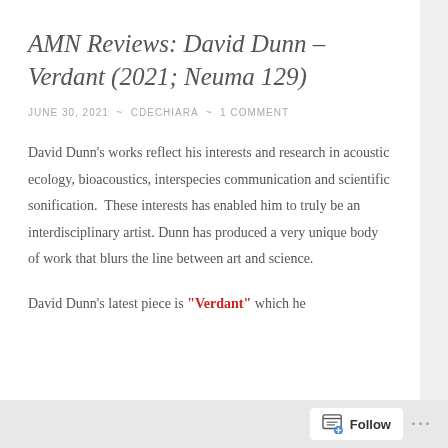AMN Reviews: David Dunn – Verdant (2021; Neuma 129)
JUNE 30, 2021 ~ CDECHIARA ~ 1 COMMENT
David Dunn's works reflect his interests and research in acoustic ecology, bioacoustics, interspecies communication and scientific sonification.  These interests has enabled him to truly be an interdisciplinary artist. Dunn has produced a very unique body of work that blurs the line between art and science.
David Dunn's latest piece is "Verdant" which he